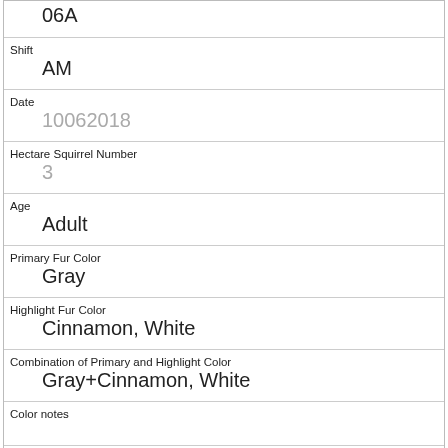| 06A |
| Shift | AM |
| Date | 10062018 |
| Hectare Squirrel Number | 3 |
| Age | Adult |
| Primary Fur Color | Gray |
| Highlight Fur Color | Cinnamon, White |
| Combination of Primary and Highlight Color | Gray+Cinnamon, White |
| Color notes |  |
| Location | Above Ground |
| Above Ground Sighter Measurement | 30 |